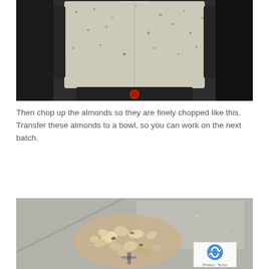[Figure (photo): Top-down view of a blender or food processor filled with finely chopped/ground almonds, showing the clear container with measurements, on a dark base.]
Then chop up the almonds so they are finely chopped like this. Transfer these almonds to a bowl, so you can work on the next batch.
[Figure (photo): Close-up of chopped almonds inside a blender/food processor bowl, showing the metal blade and almond pieces scattered on the grey surface.]